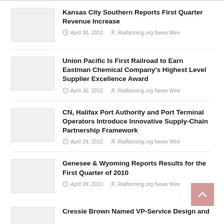Kansas City Southern Reports First Quarter Revenue Increase — April 30, 2010 — Railfanning.org News Wire
Union Pacific Is First Railroad to Earn Eastman Chemical Company's Highest Level Supplier Excellence Award — April 30, 2010 — Railfanning.org News Wire
CN, Halifax Port Authority and Port Terminal Operators Introduce Innovative Supply-Chain Partnership Framework — April 29, 2010 — Railfanning.org News Wire
Genesee & Wyoming Reports Results for the First Quarter of 2010 — April 29, 2010 — Railfanning.org News Wire
Cressie Brown Named VP-Service Design and